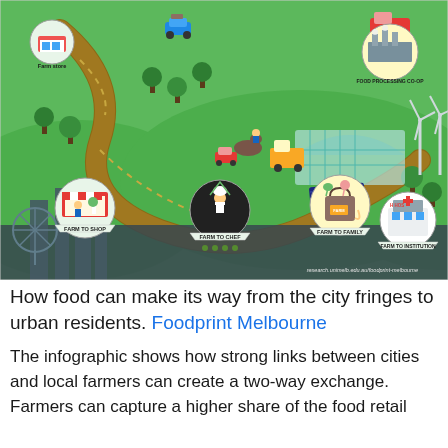[Figure (infographic): A colorful infographic showing food supply chain from rural farms to urban residents. A winding road connects farm stores, food processing co-ops, and delivery vehicles to city destinations including Farm to Shop, Farm to Chef, Farm to Family, and Farm to Institution. Green rolling hills with trees, wind turbines, solar panels, greenhouse structures, animals, and a city skyline silhouette are depicted. URL: research.unimelb.edu.au/foodprint-melbourne]
How food can make its way from the city fringes to urban residents. Foodprint Melbourne
The infographic shows how strong links between cities and local farmers can create a two-way exchange. Farmers can capture a higher share of the food retail